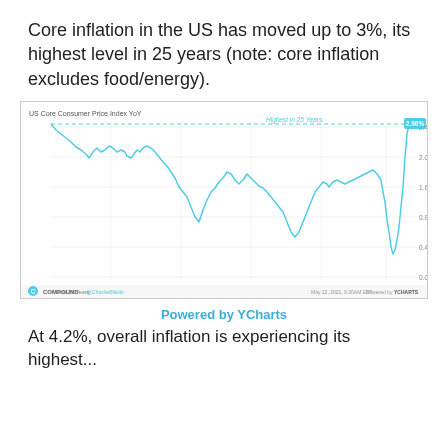Core inflation in the US has moved up to 3%, its highest level in 25 years (note: core inflation excludes food/energy).
[Figure (line-chart): Line chart of US Core Consumer Price Index YoY over the last 25 years, showing a spike to approximately 2.96% labeled as 'Highest in 25 Years'. The line rises sharply at the right end to a cyan-labeled data point of 2.96%.]
Powered by YCharts
At 4.2%, overall inflation is experiencing its highest...